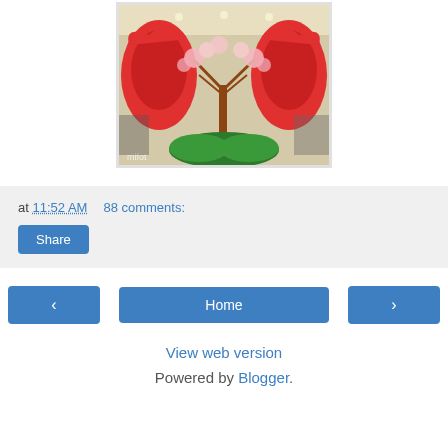[Figure (photo): Indoor display with large red bird/flamingo sculptures flanking a blossoming cherry tree in a retail or public space. Watermark 'mlf01' visible.]
at 11:52 AM   88 comments:
Share
‹
Home
›
View web version
Powered by Blogger.